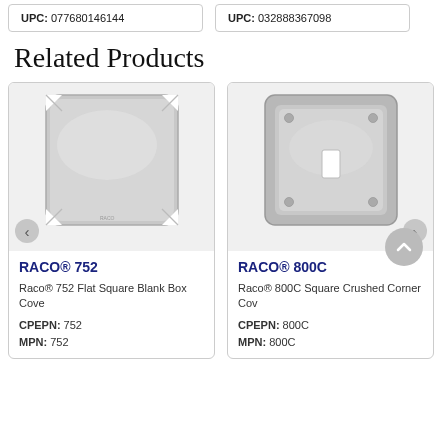UPC: 077680146144
UPC: 032888367098
Related Products
[Figure (photo): RACO 752 flat square blank metal box cover plate, silver/galvanized steel]
RACO® 752
Raco® 752 Flat Square Blank Box Cove
CPEPN: 752
MPN: 752
[Figure (photo): RACO 800C square crushed corner metal cover plate with single toggle switch opening, silver/galvanized steel]
RACO® 800C
Raco® 800C Square Crushed Corner Cov
CPEPN: 800C
MPN: 800C